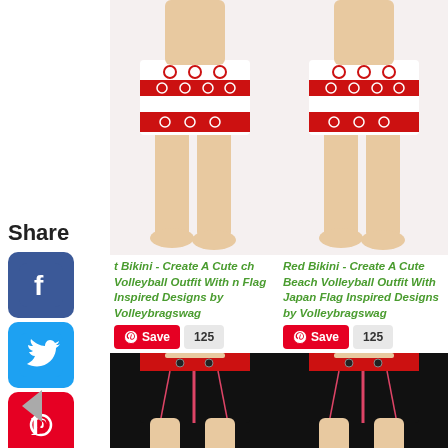Share
[Figure (illustration): Facebook social share icon - blue rounded square with white F logo]
[Figure (illustration): Twitter social share icon - light blue rounded square with white bird logo]
[Figure (illustration): Pinterest social share icon - red rounded square with white P logo]
[Figure (illustration): Tumblr social share icon - dark blue rounded square with white t logo]
[Figure (illustration): Reddit social share icon - orange rounded square with white alien logo]
[Figure (illustration): WhatsApp social share icon - green rounded square with white phone logo]
[Figure (photo): Woman wearing red and white striped bikini shorts with circle designs - front/left view]
[Figure (photo): Woman wearing red and white striped bikini shorts with circle designs - front/right view]
t Bikini - Create A Cute ch Volleyball Outfit With n Flag Inspired Designs by Volleybragswag
Red Bikini - Create A Cute Beach Volleyball Outfit With Japan Flag Inspired Designs by Volleybragswag
[Figure (photo): Woman wearing black and red volleyball shorts with design - bottom view 1]
[Figure (photo): Woman wearing black and red volleyball shorts with design - bottom view 2]